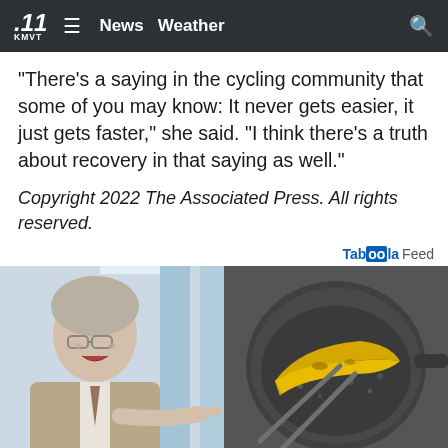KMVT .11 News Weather
“There’s a saying in the cycling community that some of you may know: It never gets easier, it just gets faster,” she said. “I think there’s a truth about recovery in that saying as well.”
Copyright 2022 The Associated Press. All rights reserved.
Taboola Feed
[Figure (photo): Split image: left side shows an older man in a suit pointing finger, right side shows a banana being cooked in a pan with tongs]